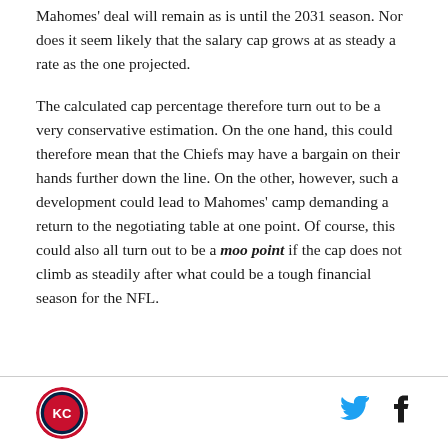Mahomes' deal will remain as is until the 2031 season. Nor does it seem likely that the salary cap grows at as steady a rate as the one projected.
The calculated cap percentage therefore turn out to be a very conservative estimation. On the one hand, this could therefore mean that the Chiefs may have a bargain on their hands further down the line. On the other, however, such a development could lead to Mahomes' camp demanding a return to the negotiating table at one point. Of course, this could also all turn out to be a moo point if the cap does not climb as steadily after what could be a tough financial season for the NFL.
[Figure (logo): Circular sports logo with red/blue/white design]